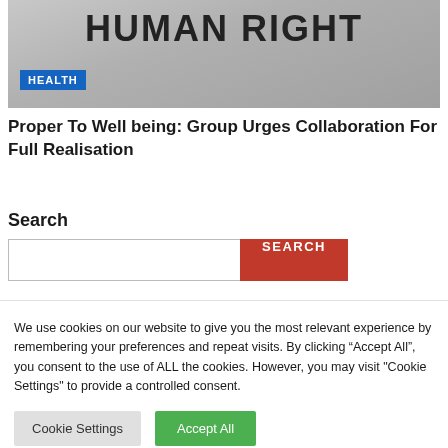[Figure (photo): Photo of a person holding a banner reading 'HUMAN RIGHT' with a HEALTH category badge overlay]
Proper To Well being: Group Urges Collaboration For Full Realisation
Search
We use cookies on our website to give you the most relevant experience by remembering your preferences and repeat visits. By clicking “Accept All”, you consent to the use of ALL the cookies. However, you may visit "Cookie Settings" to provide a controlled consent.